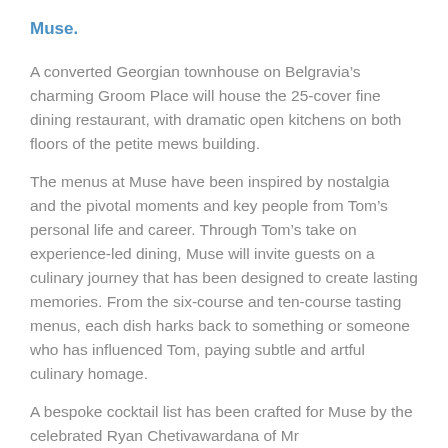Muse.
A converted Georgian townhouse on Belgravia’s charming Groom Place will house the 25-cover fine dining restaurant, with dramatic open kitchens on both floors of the petite mews building.
The menus at Muse have been inspired by nostalgia and the pivotal moments and key people from Tom’s personal life and career. Through Tom’s take on experience-led dining, Muse will invite guests on a culinary journey that has been designed to create lasting memories. From the six-course and ten-course tasting menus, each dish harks back to something or someone who has influenced Tom, paying subtle and artful culinary homage.
A bespoke cocktail list has been crafted for Muse by the celebrated Ryan Chetivawardana of Mr